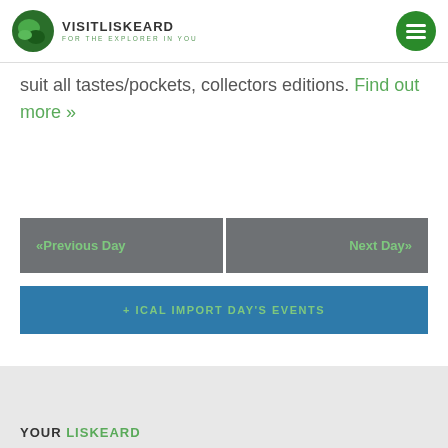[Figure (logo): Visit Liskeard logo with circular green icon and text 'VISITLISKEARD FOR THE EXPLORER IN YOU']
suit all tastes/pockets, collectors editions. Find out more »
«Previous Day
Next Day»
+ ICAL IMPORT DAY'S EVENTS
YOUR LISKEARD